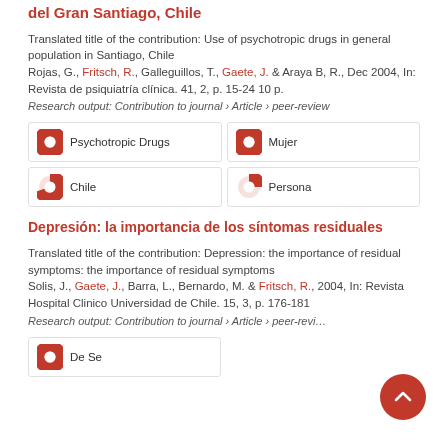del Gran Santiago, Chile
Translated title of the contribution: Use of psychotropic drugs in general population in Santiago, Chile
Rojas, G., Fritsch, R., Galleguillos, T., Gaete, J. & Araya B, R., Dec 2004, In: Revista de psiquiatría clínica. 41, 2, p. 15-24 10 p.
Research output: Contribution to journal › Article › peer-review
[Figure (infographic): Four keyword/topic badges: Psychotropic Drugs (100%), Mujer (100%), Chile (67%), Persona (38%)]
Depresión: la importancia de los síntomas residuales
Translated title of the contribution: Depression: the importance of residual symptoms: the importance of residual symptoms
Solis, J., Gaete, J., Barra, L., Bernardo, M. & Fritsch, R., 2004, In: Revista Hospital Clinico Universidad de Chile. 15, 3, p. 176-181
Research output: Contribution to journal › Article › peer-revi…
[Figure (infographic): Keyword badge: De Se (100%)]